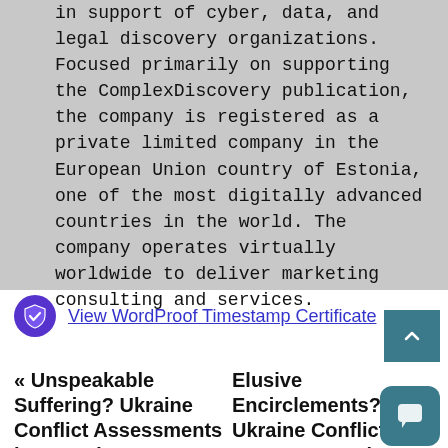in support of cyber, data, and legal discovery organizations. Focused primarily on supporting the ComplexDiscovery publication, the company is registered as a private limited company in the European Union country of Estonia, one of the most digitally advanced countries in the world. The company operates virtually worldwide to deliver marketing consulting and services.
View WordProof Timestamp Certificate
« Unspeakable Suffering? Ukraine Conflict Assessments in Maps (May 25 – 28, 2022)
Elusive Encirclements? Ukraine Conflict Assessments in Maps (May 31 – 31, 2022)